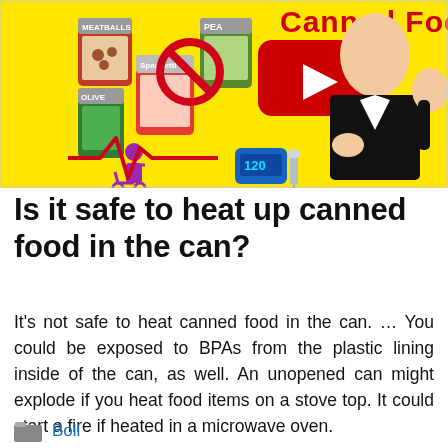[Figure (screenshot): YouTube video thumbnail showing canned food items (meatballs, olive, spaghetti, peas), a no symbol over a can, a YouTube play button, a person in a wheelchair, a blood glucose monitor showing 120, a syringe, a red heartbeat line, and a cartoon man in a suit holding his chest. Yellow background with text 'Canned Food' in top right.]
Is it safe to heat up canned food in the can?
It’s not safe to heat canned food in the can. … You could be exposed to BPAs from the plastic lining inside of the can, as well. An unopened can might explode if you heat food items on a stove top. It could start a fire if heated in a microwave oven.
Boil